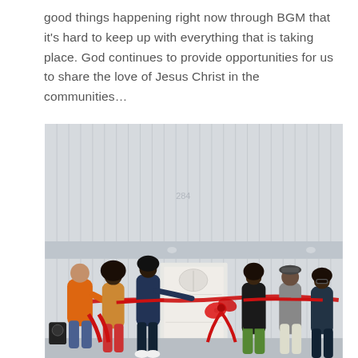good things happening right now through BGM that it's hard to keep up with everything that is taking place. God continues to provide opportunities for us to share the love of Jesus Christ in the communities…
[Figure (photo): A group of people cutting a red ribbon at the entrance of a new building with white siding. A man in an orange jacket stands on the far left next to a portable speaker. Several other individuals hold and cut the red ribbon in front of a white door with a decorative arch window. The building has the number 284 above the door area.]